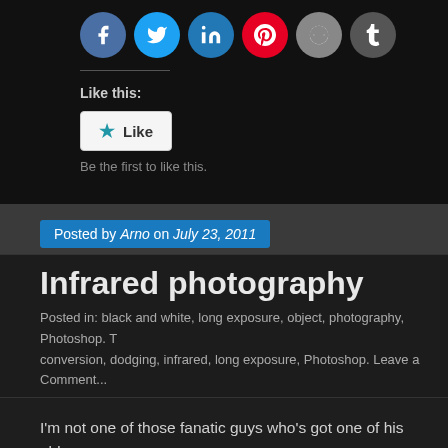[Figure (other): Social share icons row: Facebook (blue), Twitter (cyan), LinkedIn (blue), Pinterest (red), Reddit (grey), Tumblr (dark grey)]
Like this:
[Figure (other): Like button widget with star icon]
Be the first to like this.
Posted by Arno on July 23, 2011
Infrared photography
Posted in: black and white, long exposure, object, photography, Photoshop. T... conversion, dodging, infrared, long exposure, Photoshop. Leave a Comment...
I'm not one of those fanatic guys who's got one of his old camera camera, I'm using an infrared filter. Which I hadn't used in aaaages, I must add. It was nice to dig it ou... it almost cost me my camera, because a big wave came rolling in a rock (without tripod, where are they when you need them??) dur...